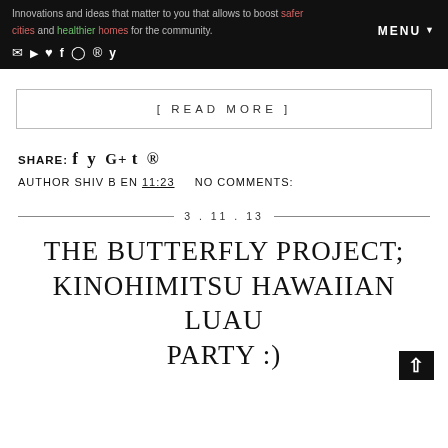Innovations and ideas that matter to you that allows to boost safer cities and healthier homes for the community. MENU
[ READ MORE ]
SHARE: f t G+ t ®
AUTHOR SHIV B EN 11:23    NO COMMENTS:
3.11.13
THE BUTTERFLY PROJECT; KINOHIMITSU HAWAIIAN LUAU PARTY :)